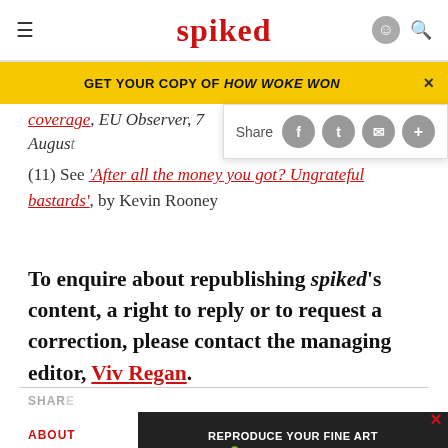spiked
GET YOUR COPY OF HOW WOKE WON
coverage, EU Observer, 7 August
(11) See ‘After all the money you got? Ungrateful bastards’, by Kevin Rooney
To enquire about republishing spiked’s content, a right to reply or to request a correction, please contact the managing editor, Viv Regan.
Share
ABOUT
[Figure (screenshot): Ad banner: REPRODUCE YOUR FINE ART / JUST GICLEE.co.uk / FIND OUT MORE]